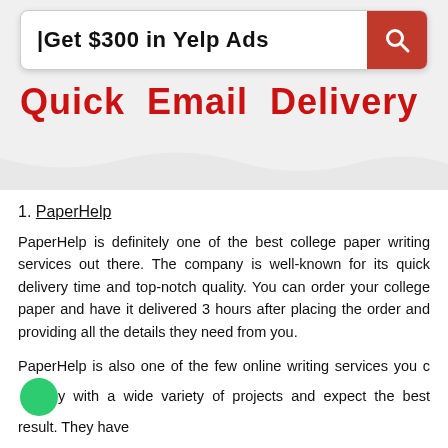[Figure (screenshot): Yelp Ads search bar advertisement with red search button icon reading 'Get $300 in Yelp Ads']
Quick  Email  Delivery
1. PaperHelp
PaperHelp is definitely one of the best college paper writing services out there. The company is well-known for its quick delivery time and top-notch quality. You can order your college paper and have it delivered 3 hours after placing the order and providing all the details they need from you.
PaperHelp is also one of the few online writing services you can trust with a wide variety of projects and expect the best result. They have